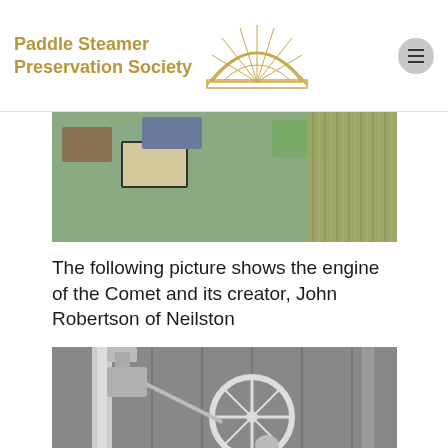Paddle Steamer Preservation Society
[Figure (photo): Top portion of a photograph showing items on a green table surface with textured material on the right]
The following picture shows the engine of the Comet and its creator, John Robertson of Neilston
[Figure (photo): Black and white photograph of the Comet engine with a large wheel, machinery components, and its creator John Robertson of Neilston visible]